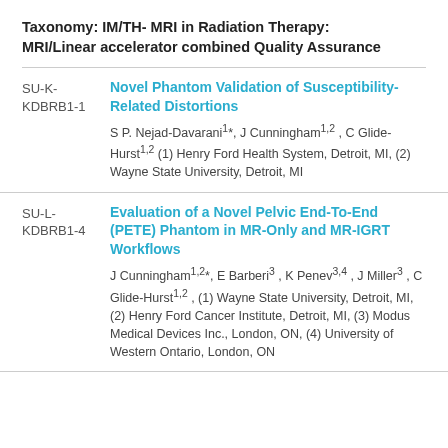Taxonomy: IM/TH- MRI in Radiation Therapy: MRI/Linear accelerator combined Quality Assurance
SU-K-KDBRB1-1 | Novel Phantom Validation of Susceptibility-Related Distortions | S P. Nejad-Davarani1*, J Cunningham1,2 , C Glide-Hurst1,2 (1) Henry Ford Health System, Detroit, MI, (2) Wayne State University, Detroit, MI
SU-L-KDBRB1-4 | Evaluation of a Novel Pelvic End-To-End (PETE) Phantom in MR-Only and MR-IGRT Workflows | J Cunningham1,2*, E Barberi3 , K Penev3,4 , J Miller3 , C Glide-Hurst1,2 , (1) Wayne State University, Detroit, MI, (2) Henry Ford Cancer Institute, Detroit, MI, (3) Modus Medical Devices Inc., London, ON, (4) University of Western Ontario, London, ON